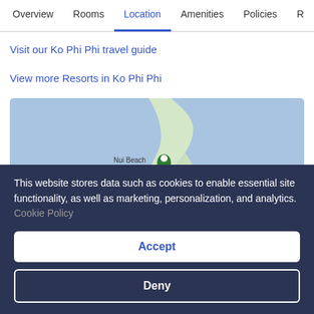Overview  Rooms  Location  Amenities  Policies  R
Visit our Ko Phi Phi travel guide
View more Resorts in Ko Phi Phi
[Figure (map): Map showing Ko Phi Phi area with Nui Beach marker and a hotel pin marker on the island coastline. Blue water background with green land mass.]
This website stores data such as cookies to enable essential site functionality, as well as marketing, personalization, and analytics. Cookie Policy
Accept
Deny